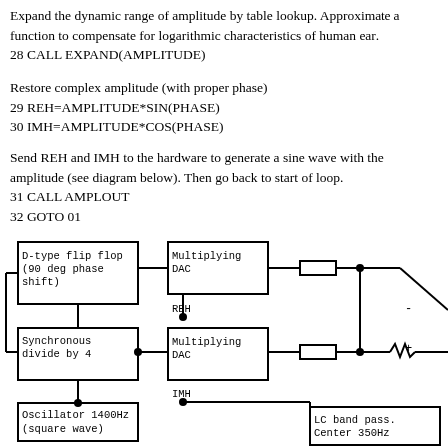Expand the dynamic range of amplitude by table lookup. Approximate a function to compensate for logarithmic characteristics of human ear.
28 CALL EXPAND(AMPLITUDE)
Restore complex amplitude (with proper phase)
29 REH=AMPLITUDE*SIN(PHASE)
30 IMH=AMPLITUDE*COS(PHASE)
Send REH and IMH to the hardware to generate a sine wave with the amplitude (see diagram below). Then go back to start of loop.
31 CALL AMPLOUT
32 GOTO 01
[Figure (engineering-diagram): Block diagram showing D-type flip flop (90 deg phase shift), Synchronous divide by 4, Oscillator 1400Hz (square wave), two Multiplying DAC blocks with REH and IMH inputs, resistors, op-amp summing circuit, and LC band pass filter centered at 350Hz]